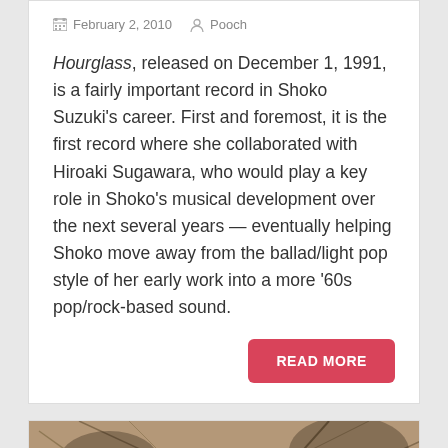February 2, 2010  Pooch
Hourglass, released on December 1, 1991, is a fairly important record in Shoko Suzuki's career. First and foremost, it is the first record where she collaborated with Hiroaki Sugawara, who would play a key role in Shoko's musical development over the next several years — eventually helping Shoko move away from the ballad/light pop style of her early work into a more '60s pop/rock-based sound.
READ MORE
[Figure (photo): Album cover or photo showing 'Long Long Way Home – Shoko Suzuki' text overlaid on a vintage sepia-toned image of foliage and a structure]